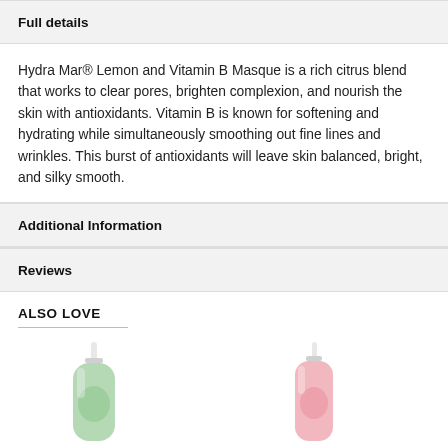Full details
Hydra Mar® Lemon and Vitamin B Masque is a rich citrus blend that works to clear pores, brighten complexion, and nourish the skin with antioxidants. Vitamin B is known for softening and hydrating while simultaneously smoothing out fine lines and wrinkles. This burst of antioxidants will leave skin balanced, bright, and silky smooth.
Additional Information
Reviews
ALSO LOVE
[Figure (photo): Two skincare product bottles shown side by side — a green bottle on the left and a pink bottle on the right.]